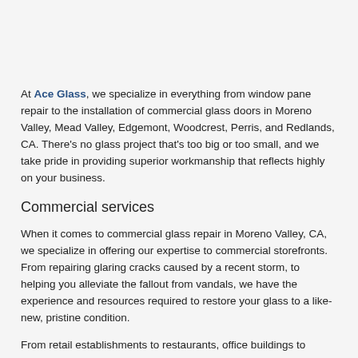At Ace Glass, we specialize in everything from window pane repair to the installation of commercial glass doors in Moreno Valley, Mead Valley, Edgemont, Woodcrest, Perris, and Redlands, CA. There's no glass project that's too big or too small, and we take pride in providing superior workmanship that reflects highly on your business.
Commercial services
When it comes to commercial glass repair in Moreno Valley, CA, we specialize in offering our expertise to commercial storefronts. From repairing glaring cracks caused by a recent storm, to helping you alleviate the fallout from vandals, we have the experience and resources required to restore your glass to a like-new, pristine condition.
From retail establishments to restaurants, office buildings to private commercial facilities, our experience in offering glass services to commercial building owners and managers spans the gamut. Don't